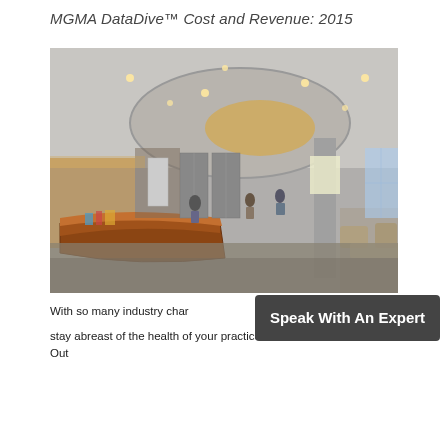MGMA DataDive™ Cost and Revenue: 2015
[Figure (photo): Interior of a hospital or medical facility lobby showing a curved reception/information desk made of wood and metal, recessed ceiling lights arranged in a large oval pattern, a central cylindrical column, lounge chairs and seating area to the right, and multiple people including staff and visitors visible in the background.]
With so many industry char
stay abreast of the health of your practice. Out